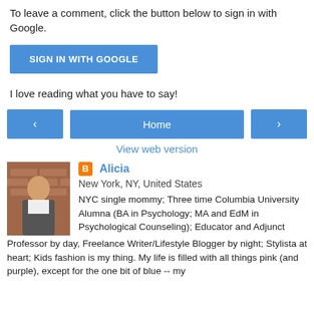To leave a comment, click the button below to sign in with Google.
[Figure (other): Blue button labeled SIGN IN WITH GOOGLE]
I love reading what you have to say!
[Figure (other): Navigation row with left arrow button, Home button, and right arrow button]
View web version
[Figure (photo): Profile photo of Alicia, a woman in front of a brick wall]
Alicia
New York, NY, United States
NYC single mommy; Three time Columbia University Alumna (BA in Psychology; MA and EdM in Psychological Counseling); Educator and Adjunct Professor by day, Freelance Writer/Lifestyle Blogger by night; Stylista at heart; Kids fashion is my thing. My life is filled with all things pink (and purple), except for the one bit of blue -- my